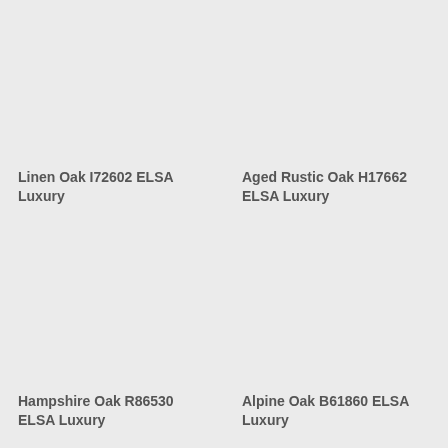Linen Oak I72602 ELSA Luxury
Aged Rustic Oak H17662 ELSA Luxury
Hampshire Oak R86530 ELSA Luxury
Alpine Oak B61860 ELSA Luxury